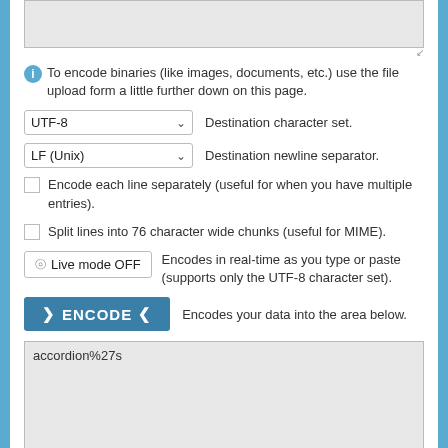[Figure (screenshot): Textarea input box (top, partially visible, gray background)]
To encode binaries (like images, documents, etc.) use the file upload form a little further down on this page.
UTF-8  Destination character set.
LF (Unix)  Destination newline separator.
Encode each line separately (useful for when you have multiple entries).
Split lines into 76 character wide chunks (useful for MIME).
Live mode OFF  Encodes in real-time as you type or paste (supports only the UTF-8 character set).
ENCODE  Encodes your data into the area below.
accordion%27s